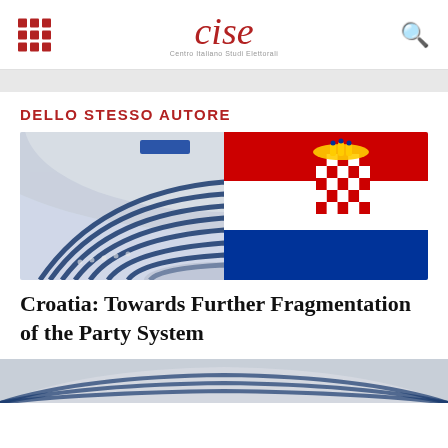cise — Centro Italiano Studi Elettorali
DELLO STESSO AUTORE
[Figure (photo): European Parliament hemicycle with Croatia flag overlay on the right half]
Croatia: Towards Further Fragmentation of the Party System
[Figure (photo): Partial image at bottom of page (cropped)]